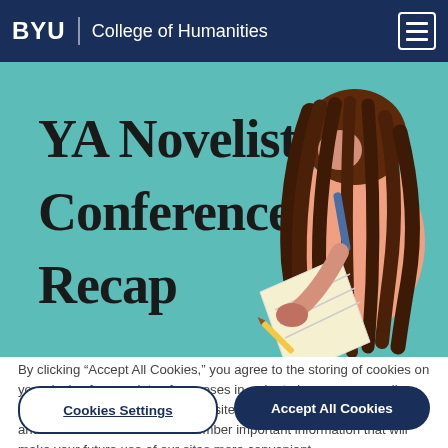BYU | College of Humanities
[Figure (illustration): YA Novelist Conference Recap banner image with teal background, large bold text reading 'YA Novelist Conference Recap' on the left, and an illustration of a girl with brown hair writing on paper on the right.]
By clicking “Accept All Cookies,” you agree to the storing of cookies on your device for a variety of purposes in order to improve your online experience, including to enhance site navigation, analyze site usage, and assist in our efforts to remember important information that will make your future use of our sites more convenient.
Cookies Settings
Accept All Cookies